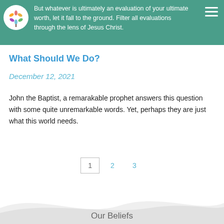But whatever is ultimately an evaluation of your ultimate worth, let it fall to the ground. Filter all evaluations through the lens of Jesus Christ.
What Should We Do?
December 12, 2021
John the Baptist, a remarakable prophet answers this question with some quite unremarkable words. Yet, perhaps they are just what this world needs.
1  2  3
Our Beliefs